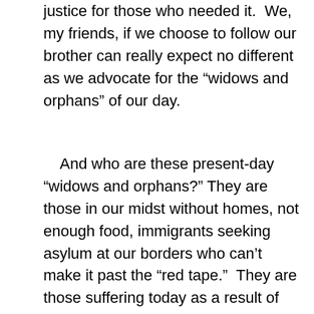justice for those who needed it.  We, my friends, if we choose to follow our brother can really expect no different as we advocate for the “widows and orphans” of our day.
And who are these present-day “widows and orphans?” They are those in our midst without homes, not enough food, immigrants seeking asylum at our borders who can’t make it past the “red tape.”  They are those suffering today as a result of climate change—too much rain, not enough rain—resulting in wild fires and crop loss, more powerful and devasting storms, and the list goes on to include those in this country whose government was formed to recognize all as equal and free—with justice for all, who still today carry the burden of racism, sexism and every other “ism” that seeks to divide rather than unite us as a people.